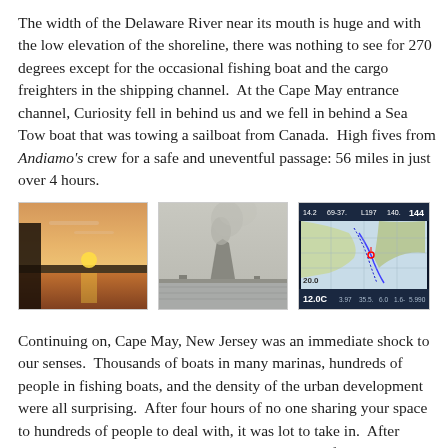The width of the Delaware River near its mouth is huge and with the low elevation of the shoreline, there was nothing to see for 270 degrees except for the occasional fishing boat and the cargo freighters in the shipping channel.  At the Cape May entrance channel, Curiosity fell in behind us and we fell in behind a Sea Tow boat that was towing a sailboat from Canada.  High fives from Andiamo's crew for a safe and uneventful passage: 56 miles in just over 4 hours.
[Figure (photo): Sunset over a flat waterway with orange sky reflected on calm water, viewed from the side of a boat]
[Figure (photo): Industrial cooling tower emitting smoke/steam on a flat horizon over open water]
[Figure (photo): GPS/chartplotter screen showing a nautical chart with speed reading 12.0C and depth 144, position 20.0]
Continuing on, Cape May, New Jersey was an immediate shock to our senses.  Thousands of boats in many marinas, hundreds of people in fishing boats, and the density of the urban development were all surprising.  After four hours of no one sharing your space to hundreds of people to deal with, it was lot to take in.  After passing the large Coast Guard base, Andiamo was followed by one of their small and